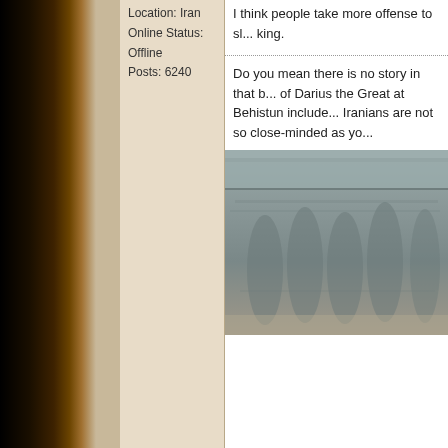Location: Iran
Online Status: Offline
Posts: 6240
I think people take more offense to sl... king.
Do you mean there is no story in that b... of Darius the Great at Behistun include... Iranians are not so close-minded as yo...
[Figure (photo): Stone relief carving, appears to be ancient Persian bas-relief]
Some ▼
Pretorian
Joined: 11-Nov-2008
Online Status: Offline
Posts: 168
Posted: 24-Jan-2009 at 10:16
Originally posted by es_bih
Originally posted by Cyrus Shah...
Seko, people believe in their countr... believe in you religion, do you know... the defense of their countries? Why...